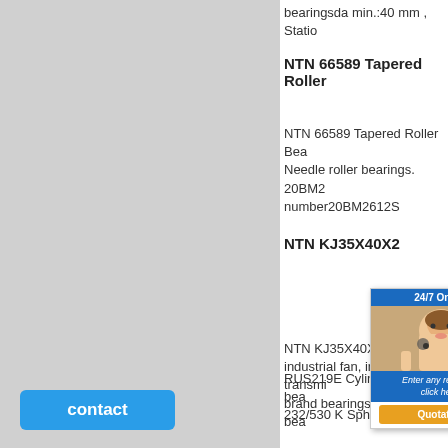bearingsda min.:40 mm , Statio
NTN 66589 Tapered Roller
NTN 66589 Tapered Roller Bea Needle roller bearings. 20BM2 number20BM2612S
NTN KJ35X40X2
NTN KJ35X40X28. industrial fan, industrial transmi brand bearings currently in bea
1912 INA d 50 mm 50x90x
RUS219E Cylindrical roller bea 232/530 K Sphe   roller bear
[Figure (other): Live chat popup with customer service representative photo, '24/7 Online' header, 'Enter any requests, click here.' text, and 'Quotation' button]
contact